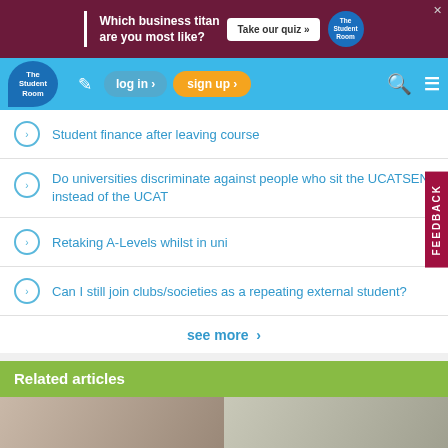[Figure (screenshot): Advertisement banner: 'Which business titan are you most like? Take our quiz' with The Student Room logo on dark red background]
[Figure (screenshot): Navigation bar with The Student Room logo, edit icon, log in button, sign up button, search icon, and menu icon on blue background]
Student finance after leaving course
Do universities discriminate against people who sit the UCATSEN instead of the UCAT
Retaking A-Levels whilst in uni
Can I still join clubs/societies as a repeating external student?
see more >
Related articles
[Figure (photo): Two photo thumbnails for related articles - left shows a woman, right shows people studying]